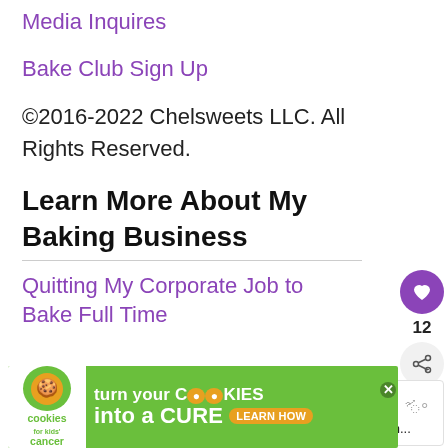Media Inquires
Bake Club Sign Up
©2016-2022 Chelsweets LLC. All Rights Reserved.
Learn More About My Baking Business
Quitting My Corporate Job to Bake Full Time
[Figure (other): Heart/like button (purple circle with heart icon) and share button with count 12]
[Figure (other): WHAT'S NEXT panel with thumbnail and text 'Vanilla American...']
[Figure (other): Advertisement banner: cookies for kids cancer - turn your cookies into a CURE LEARN HOW]